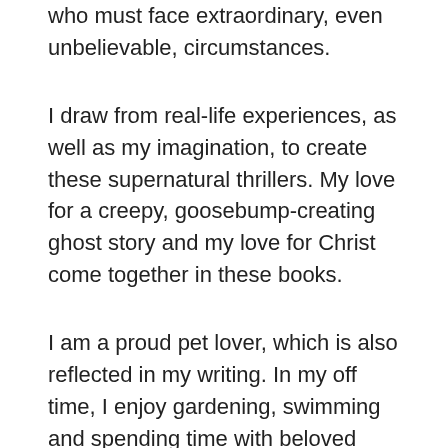who must face extraordinary, even unbelievable, circumstances.
I draw from real-life experiences, as well as my imagination, to create these supernatural thrillers. My love for a creepy, goosebump-creating ghost story and my love for Christ come together in these books.
I am a proud pet lover, which is also reflected in my writing. In my off time, I enjoy gardening, swimming and spending time with beloved family.
I pray you enjoy reading Ravens Cove as much as